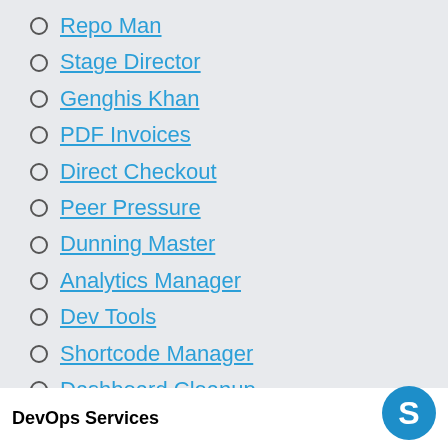Repo Man
Stage Director
Genghis Khan
PDF Invoices
Direct Checkout
Peer Pressure
Dunning Master
Analytics Manager
Dev Tools
Shortcode Manager
Dashboard Cleanup
DevOps Services